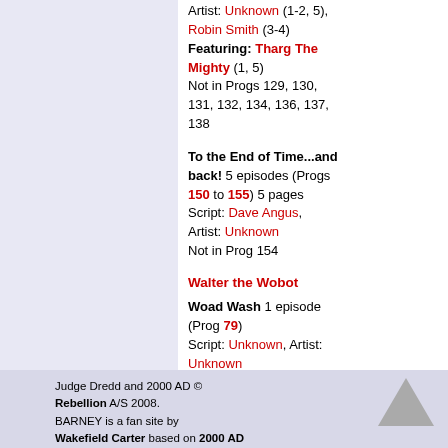Artist: Unknown (1-2, 5), Robin Smith (3-4) Featuring: Tharg The Mighty (1, 5) Not in Progs 129, 130, 131, 132, 134, 136, 137, 138
To the End of Time...and back! 5 episodes (Progs 150 to 155) 5 pages Script: Dave Angus, Artist: Unknown Not in Prog 154
Walter the Wobot
Woad Wash 1 episode (Prog 79) Script: Unknown, Artist: Unknown
Click HERE for a printer friendly view.
Judge Dredd and 2000 AD © Rebellion A/S 2008. BARNEY is a fan site by Wakefield Carter based on 2000 AD Online 2001-2008.